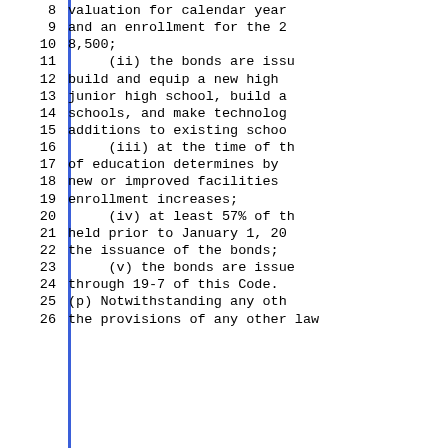8   valuation for calendar year
9   and an enrollment for the 2
10  8,500;
11       (ii) the bonds are issu
12  build and equip a new high
13  junior high school, build a
14  schools, and make technolog
15  additions to existing schoo
16       (iii) at the time of th
17  of education determines by
18  new or improved facilities
19  enrollment increases;
20       (iv) at least 57% of th
21  held prior to January 1, 20
22  the issuance of the bonds;
23       (v) the bonds are issue
24  through 19-7 of this Code.
25  (p) Notwithstanding any oth
26  the provisions of any other law